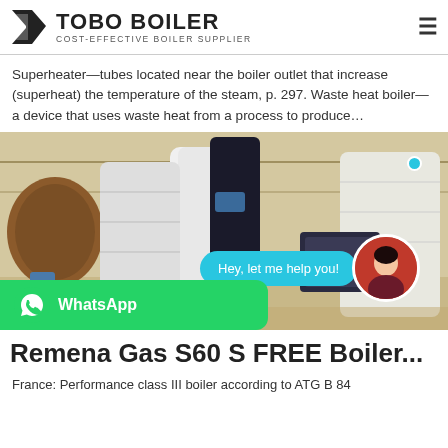TOBO BOILER — COST-EFFECTIVE BOILER SUPPLIER
Superheater—tubes located near the boiler outlet that increase (superheat) the temperature of the steam, p. 297. Waste heat boiler—a device that uses waste heat from a process to produce…
[Figure (photo): Industrial boilers wrapped in white plastic wrap stored in a factory/warehouse, with a chat bubble overlay saying 'Hey, let me help you!', a WhatsApp button overlay, and a customer service avatar.]
Remena Gas S60 S FREE Boiler...
France: Performance class III boiler according to ATG B 84